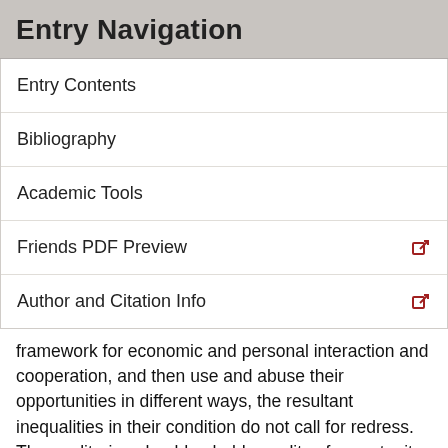Entry Navigation
Entry Contents
Bibliography
Academic Tools
Friends PDF Preview
Author and Citation Info
framework for economic and personal interaction and cooperation, and then use and abuse their opportunities in different ways, the resultant inequalities in their condition do not call for redress. The egalitarian should uphold equality of opportunity not equality of outcome.
A second line of thought also supports an equality of opportunity conception of distributive justice. This line of thought is discernible in chapter two of John Rawls's classic treatise on justice (Rawls 1999; see also Barry 1989: chapter 6). If we accept that people ought to enjoy formal equality of opportunity or careers open to talents